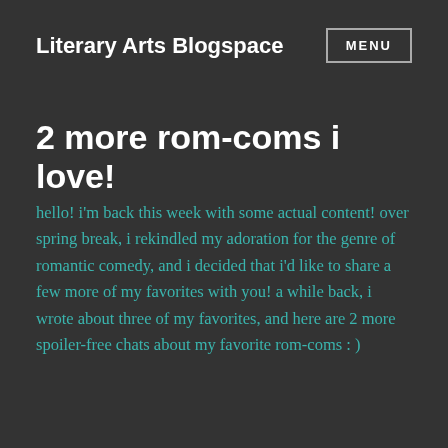Literary Arts Blogspace   MENU
2 more rom-coms i love!
hello! i'm back this week with some actual content! over spring break, i rekindled my adoration for the genre of romantic comedy, and i decided that i'd like to share a few more of my favorites with you! a while back, i wrote about three of my favorites, and here are 2 more spoiler-free chats about my favorite rom-coms : )